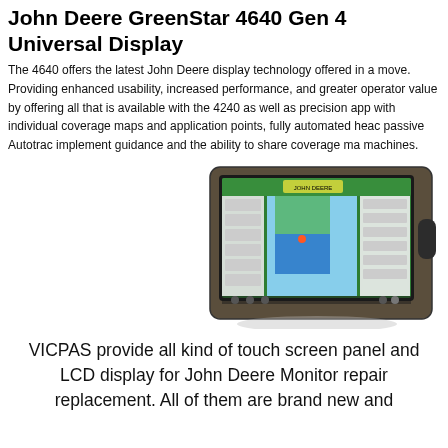John Deere GreenStar 4640 Gen 4 Universal Display
The 4640 offers the latest John Deere display technology offered in a move. Providing enhanced usability, increased performance, and greater operator value by offering all that is available with the 4240 as well as precision app with individual coverage maps and application points, fully automated head passive Autotrac implement guidance and the ability to share coverage ma machines.
[Figure (photo): John Deere GreenStar 4640 Gen 4 Universal Display device showing the touchscreen interface with navigation/field mapping software]
VICPAS provide all kind of touch screen panel and LCD display for John Deere Monitor repair replacement. All of them are brand new and